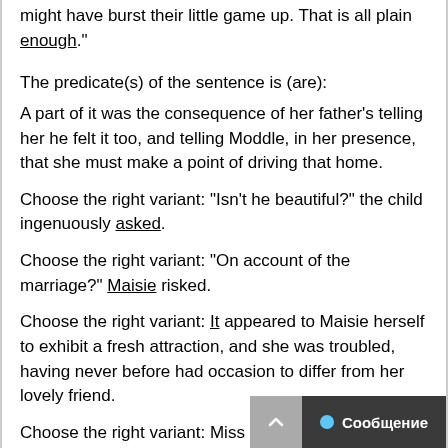might have burst their little game up. That is all plain enough."
The predicate(s) of the sentence is (are):
A part of it was the consequence of her father's telling her he felt it too, and telling Moddle, in her presence, that she must make a point of driving that home.
Choose the right variant: "Isn't he beautiful?" the child ingenuously asked.
Choose the right variant: "On account of the marriage?" Maisie risked.
Choose the right variant: It appeared to Maisie herself to exhibit a fresh attraction, and she was troubled, having never before had occasion to differ from her lovely friend.
Choose the right variant: Miss Overmore glittered